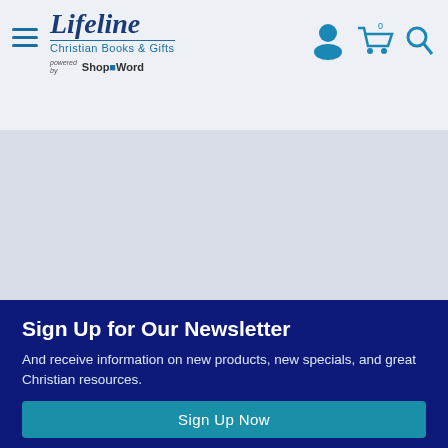Lifeline Christian Books & Gifts — powered by ShopWord
[Figure (screenshot): Navigation header with hamburger menu, Lifeline Christian Books & Gifts logo, powered by ShopWord text, and icons for account, cart (0), and search]
[Figure (photo): Large light gray/blue content area (empty promotional banner space)]
Sign Up for Our Newsletter
And receive information on new products, new specials, and great Christian resources.
Sign Up Now